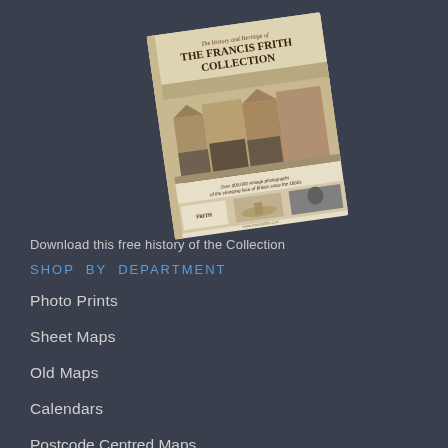[Figure (illustration): A book cover tilted at an angle showing 'The History and Heritage of THE FRANCIS FRITH COLLECTION' with vintage photographs of a British street scene and smaller historical images. Text reads 'Over 300,000 vintage photographs of the changing face of Britain since the 1860s'.]
Download this free history of the Collection
SHOP BY DEPARTMENT
Photo Prints
Sheet Maps
Old Maps
Calendars
Postcode Centred Maps
Jigsaws
Photo Books
Tableware